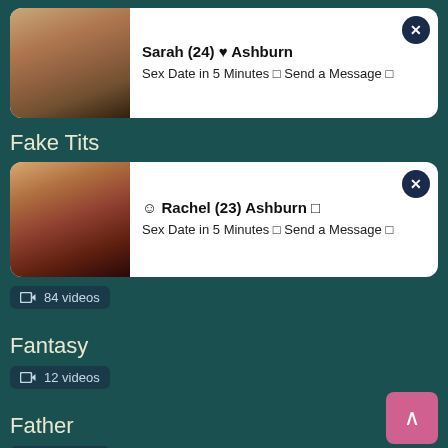[Figure (photo): Ad card with photo of blonde woman, Sarah (24) from Ashburn]
Sarah (24) ♥ Ashburn
Sex Date in 5 Minutes 🔒 Send a Message 🔒
Fake Tits
[Figure (photo): Ad card with photo of brunette woman, Rachel (23) from Ashburn]
☺ Rachel (23) Ashburn 🔒
Sex Date in 5 Minutes 🔒 Send a Message 🔒
📹 84 videos
Fantasy
📹 12 videos
Father
📹 12 videos